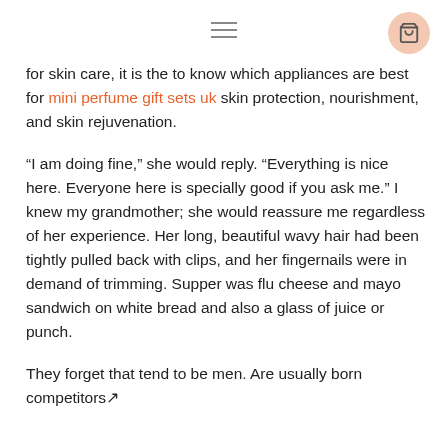[hamburger menu icon] [cart icon]
for skin care, it is the to know which appliances are best for mini perfume gift sets uk skin protection, nourishment, and skin rejuvenation.
“I am doing fine,” she would reply. “Everything is nice here. Everyone here is specially good if you ask me.” I knew my grandmother; she would reassure me regardless of her experience. Her long, beautiful wavy hair had been tightly pulled back with clips, and her fingernails were in demand of trimming. Supper was flu cheese and mayo sandwich on white bread and also a glass of juice or punch.
They forget that tend to be men. Are usually born competitors